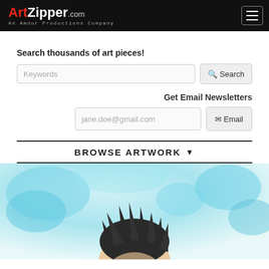ArtZipper.com — An Amdur Productions Company
Search thousands of art pieces!
Keywords [Search button]
Get Email Newsletters
jane.doe@gmail.com [Email button]
BROWSE ARTWORK
[Figure (photo): Partial photo of a person with dark spiky hair against a light blue/white background, cropped at the bottom of the page.]